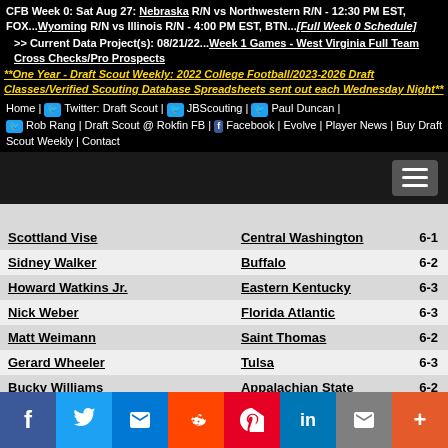CFB Week 0: Sat Aug 27: Nebraska R/N vs Northwestern R/N - 12:30 PM EST, FOX...Wyoming R/N vs Illinois R/N - 4:00 PM EST, BTN...**[Full Week 0 Schedule]**
>> Current Data Project(s): 08/21/22...Week 1 Games - West Virginia Full Team Cross Checks/Pro Prospects
**One Year - Draft Scout Weekly: 2022 College Football/2023-2026 Draft Classes/Verified Scouting Database Spreadsheets sent out each Wednesday Night**
Home | Twitter: Draft Scout | JBScouting | Paul Duncan | Rob Rang | Draft Scout @ Rokfin FB | Facebook | Evolve | Player News | Buy Draft Scout Weekly | Contact
| Player | School | Rank |
| --- | --- | --- |
| Scottland Vise | Central Washington | 6-1 |
| Sidney Walker | Buffalo | 6-2 |
| Howard Watkins Jr. | Eastern Kentucky | 6-3 |
| Nick Weber | Florida Atlantic | 6-3 |
| Matt Weimann | Saint Thomas | 6-2 |
| Gerard Wheeler | Tulsa | 6-3 |
| Bucky Williams | Appalachian State | 6-2 |
| Dacquari Wilson | North Carolina AT | 6-3 |
| Ouintin Wilson | Kentucky | 6-1 |